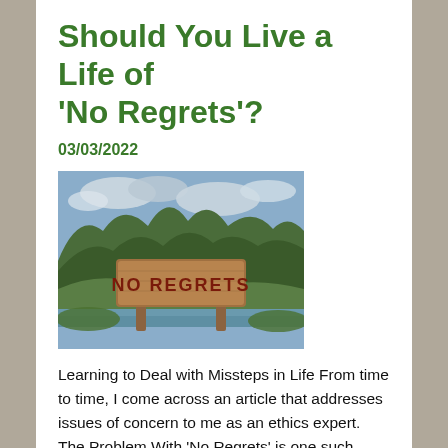Should You Live a Life of ‘No Regrets’?
03/03/2022
[Figure (photo): A wooden sign reading 'NO REGRETS' in carved red letters, set against a lush green mountainous landscape with a river and dramatic karst hills in the background under a cloudy sky.]
Learning to Deal with Missteps in Life From time to time, I come across an article that addresses issues of concern to me as an ethics expert. The Problem With ‘No Regrets’ is one such piece. In 2020, the author Daniel Pink launched the World Regret Survey, which asked